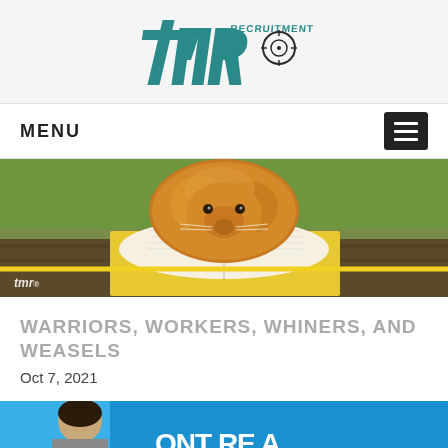[Figure (logo): TMR Recruitment logo with stylized italic tmr letters in teal and a target/crosshair icon]
MENU
[Figure (photo): A fluffy orange guinea pig sitting on top of an open book outdoors on a wooden surface, with tmr watermark logo in bottom left]
WARRIORS, WORKERS, WHINERS, AND WEASELS
Oct 7, 2021
[Figure (photo): Partial view of a person and text on a blue background, partially cropped at bottom of page]